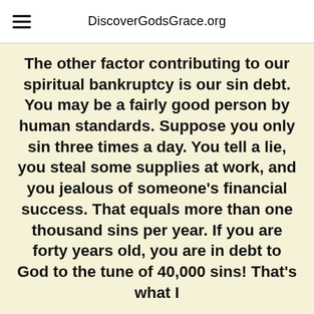DiscoverGodsGrace.org
The other factor contributing to our spiritual bankruptcy is our sin debt. You may be a fairly good person by human standards. Suppose you only sin three times a day. You tell a lie, you steal some supplies at work, and you jealous of someone's financial success. That equals more than one thousand sins per year. If you are forty years old, you are in debt to God to the tune of 40,000 sins! That's what I